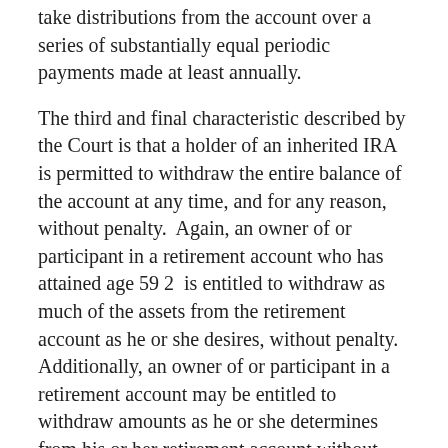take distributions from the account over a series of substantially equal periodic payments made at least annually.
The third and final characteristic described by the Court is that a holder of an inherited IRA is permitted to withdraw the entire balance of the account at any time, and for any reason, without penalty.  Again, an owner of or participant in a retirement account who has attained age 59 2  is entitled to withdraw as much of the assets from the retirement account as he or she desires, without penalty.  Additionally, an owner of or participant in a retirement account may be entitled to withdraw amounts as he or she determines from his or her retirement account without penalty, if such individual meets one or more of the exceptions to the 10% penalty tax for